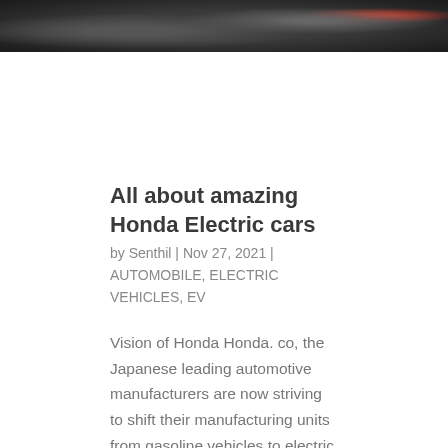[Figure (photo): Top portion of a photo showing a dark interior scene, likely inside a car, with dim lighting and a red accent visible in the upper right.]
All about amazing Honda Electric cars
by Senthil | Nov 27, 2021 | AUTOMOBILE, ELECTRIC VEHICLES, EV
Vision of Honda Honda. co, the Japanese leading automotive manufacturers are now striving to shift their manufacturing units from gasoline vehicles to electric vehicles. As an initial move, Honda has